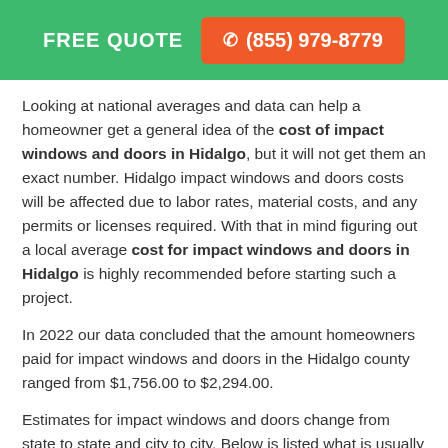FREE QUOTE  ☎ (855) 979-8779
Looking at national averages and data can help a homeowner get a general idea of the cost of impact windows and doors in Hidalgo, but it will not get them an exact number. Hidalgo impact windows and doors costs will be affected due to labor rates, material costs, and any permits or licenses required. With that in mind figuring out a local average cost for impact windows and doors in Hidalgo is highly recommended before starting such a project.
In 2022 our data concluded that the amount homeowners paid for impact windows and doors in the Hidalgo county ranged from $1,756.00 to $2,294.00.
Estimates for impact windows and doors change from state to state and city to city. Below is listed what is usually included and what is usually not included in Hidalgo impact windows and doors estimates from local